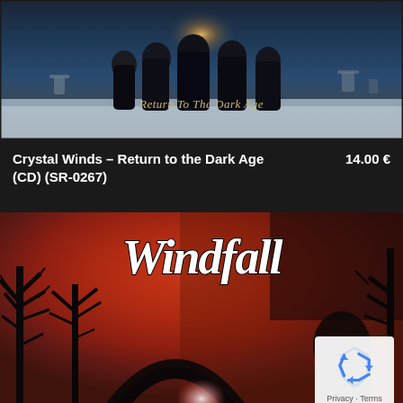[Figure (photo): Album cover for Crystal Winds – Return to the Dark Age. Dark atmospheric scene with robed monk figures standing in a snowy cemetery/churchyard at night with a warm light source behind them.]
Crystal Winds – Return to the Dark Age (CD) (SR-0267)
14.00 €
[Figure (photo): Album cover for Windfall. Red and dark atmospheric scene with silhouetted bare trees and figures, 'Windfall' text in large gothic/italic white font at the top. reCAPTCHA badge visible in bottom right corner.]